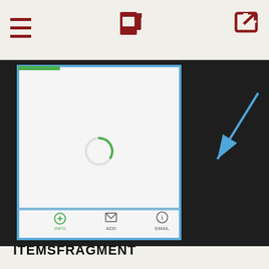[Figure (screenshot): Mobile app top navigation bar with hamburger menu icon (dark red), fuel pump icon (dark red), and external link icon (dark red) on a light beige background]
[Figure (screenshot): Mobile app screenshot showing a phone UI panel with blue border on a dark background. The panel contains a green loading spinner and a bottom toolbar with INFO, ADD, and EMAIL buttons. A blue arrow points to the panel from the upper right.]
ITEMSFRAGMENT